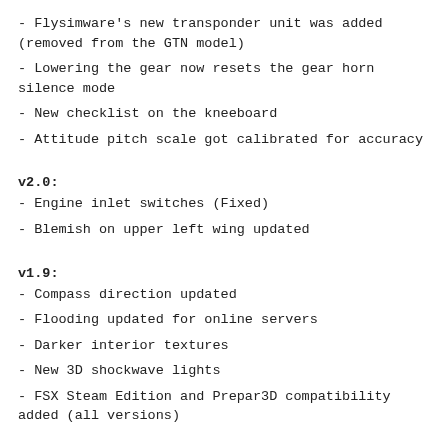- Flysimware's new transponder unit was added (removed from the GTN model)
- Lowering the gear now resets the gear horn silence mode
- New checklist on the kneeboard
- Attitude pitch scale got calibrated for accuracy
v2.0:
- Engine inlet switches (Fixed)
- Blemish on upper left wing updated
v1.9:
- Compass direction updated
- Flooding updated for online servers
- Darker interior textures
- New 3D shockwave lights
- FSX Steam Edition and Prepar3D compatibility added (all versions)
v1.8: